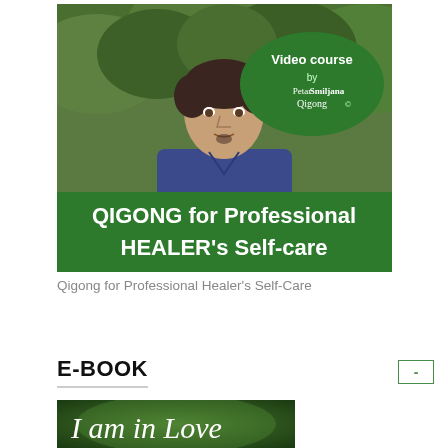[Figure (photo): Video course thumbnail showing a man standing outdoors with trees in background. Green oval badge reads 'Video course by PetarSmiljana Qigong'. Green banner at bottom reads 'QIGONG for Professional HEALER's Self-care'.]
Qigong for Professional Healer's Self-Care
E-BOOK
[Figure (photo): Partial view of an e-book cover with green background showing the text 'I am in Love' in white serif font.]